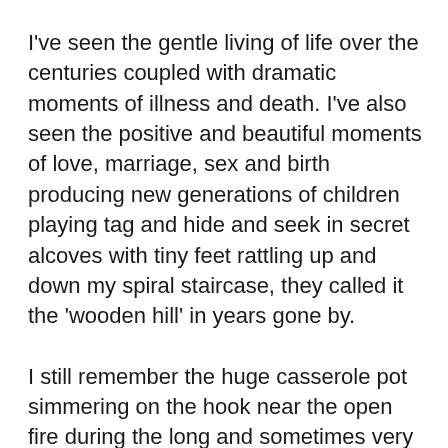I've seen the gentle living of life over the centuries coupled with dramatic moments of illness and death. I've also seen the positive and beautiful moments of love, marriage, sex and birth producing new generations of children playing tag and hide and seek in secret alcoves with tiny feet rattling up and down my spiral staircase, they called it the 'wooden hill' in years gone by.
I still remember the huge casserole pot simmering on the hook near the open fire during the long and sometimes very cold winters when the hoar-frost would render the masts of the fishing fleet white and the ropes and lanyards would be stiff with the frozen moisture within. Visitors would enter through